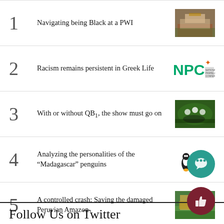1 Navigating being Black at a PWI
2 Racism remains persistent in Greek Life
3 With or without QB1, the show must go on
4 Analyzing the personalities of the “Madagascar” penguins
5 A controlled crash: Saving the damaged Peruvian Amazon
Follow Us on Twitter